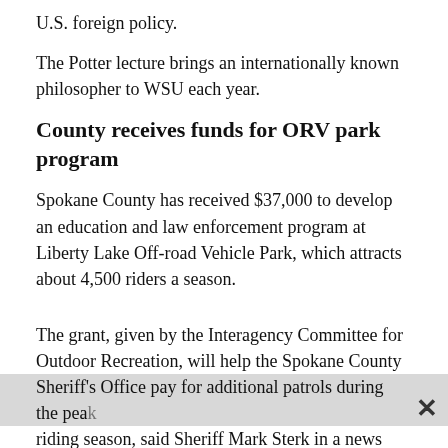U.S. foreign policy.
The Potter lecture brings an internationally known philosopher to WSU each year.
County receives funds for ORV park program
Spokane County has received $37,000 to develop an education and law enforcement program at Liberty Lake Off-road Vehicle Park, which attracts about 4,500 riders a season.
The grant, given by the Interagency Committee for Outdoor Recreation, will help the Spokane County Sheriff’s Office pay for additional patrols during the peak riding season, said Sheriff Mark Sterk in a news release.